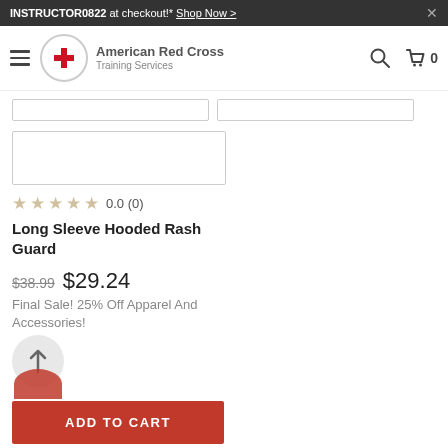INSTRUCTOR0822 at checkout!* Shop Now >
[Figure (logo): American Red Cross Training Services logo with red cross emblem]
[Figure (screenshot): Product image placeholder box for Long Sleeve Hooded Rash Guard]
0.0 (0)
Long Sleeve Hooded Rash Guard
$38.99  $29.24
Final Sale! 25% Off Apparel And Accessories!
ADD TO CART